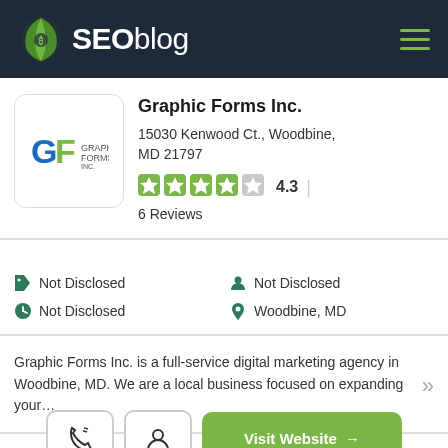[Figure (logo): SEOblog logo with green leaf icon on dark navy background header]
Graphic Forms Inc.
15030 Kenwood Ct., Woodbine, MD 21797
4.3 | 6 Reviews
Not Disclosed (price tag icon)
Not Disclosed (person icon)
Not Disclosed (clock icon)
Woodbine, MD (location icon)
Graphic Forms Inc. is a full-service digital marketing agency in Woodbine, MD. We are a local business focused on expanding your…